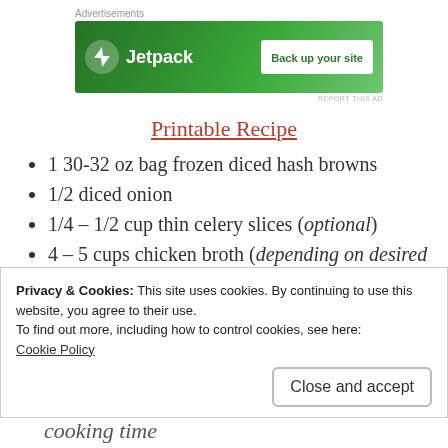[Figure (screenshot): Jetpack advertisement banner with green background, Jetpack logo and 'Back up your site' button]
Printable Recipe
1 30-32 oz bag frozen diced hash browns
1/2 diced onion
1/4 – 1/2 cup thin celery slices (optional)
4 – 5 cups chicken broth (depending on desired thickness)
Privacy & Cookies: This site uses cookies. By continuing to use this website, you agree to their use.
To find out more, including how to control cookies, see here:
Cookie Policy
cooking time